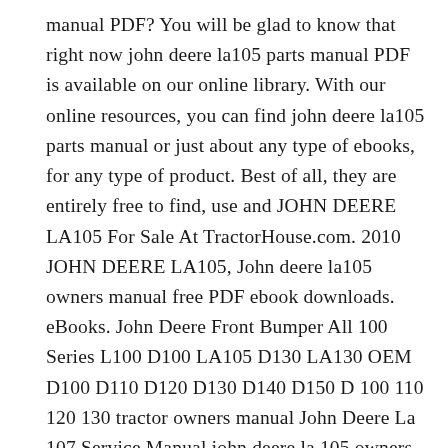manual PDF? You will be glad to know that right now john deere la105 parts manual PDF is available on our online library. With our online resources, you can find john deere la105 parts manual or just about any type of ebooks, for any type of product. Best of all, they are entirely free to find, use and JOHN DEERE LA105 For Sale At TractorHouse.com. 2010 JOHN DEERE LA105, John deere la105 owners manual free PDF ebook downloads. eBooks. John Deere Front Bumper All 100 Series L100 D100 LA105 D130 LA130 OEM D100 D110 D120 D130 D140 D150 D 100 110 120 130 tractor owners manual John Deere La 107 Service Manual john deere la 105 owners manual eBook